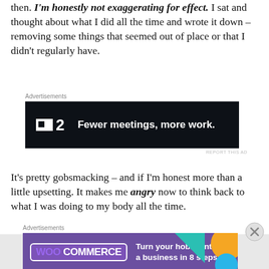then. I'm honestly not exaggerating for effect. I sat and thought about what I did all the time and wrote it down – removing some things that seemed out of place or that I didn't regularly have.
[Figure (infographic): Dark banner advertisement for an app called F2 with slogan 'Fewer meetings, more work.' on black background]
It's pretty gobsmacking – and if I'm honest more than a little upsetting. It makes me angry now to think back to what I was doing to my body all the time.
[Figure (infographic): Purple WooCommerce advertisement: 'Turn your hobby into a business in 8 steps' with teal and orange geometric shapes]